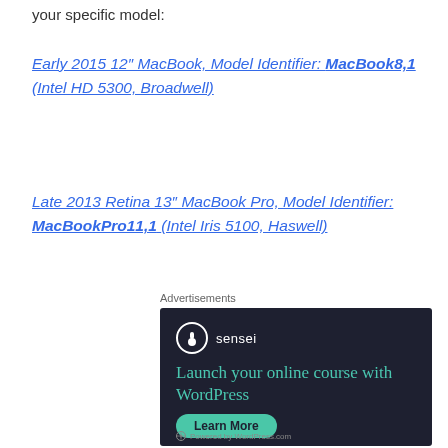your specific model:
Early 2015 12″ MacBook, Model Identifier: MacBook8,1 (Intel HD 5300, Broadwell)
Late 2013 Retina 13″ MacBook Pro, Model Identifier: MacBookPro11,1 (Intel Iris 5100, Haswell)
Advertisements
[Figure (illustration): Sensei advertisement banner: dark background with sensei logo, teal headline 'Launch your online course with WordPress', teal Learn More button, and Powered by WordPress.com footer]